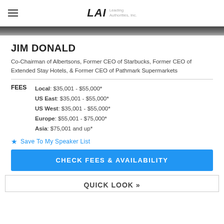LAI Leading Authorities, Inc.
[Figure (photo): Partial photo strip of speaker Jim Donald]
JIM DONALD
Co-Chairman of Albertsons, Former CEO of Starbucks, Former CEO of Extended Stay Hotels, & Former CEO of Pathmark Supermarkets
FEES  Local: $35,001 - $55,000*  US East: $35,001 - $55,000*  US West: $35,001 - $55,000*  Europe: $55,001 - $75,000*  Asia: $75,001 and up*
Save To My Speaker List
CHECK FEES & AVAILABILITY
QUICK LOOK »